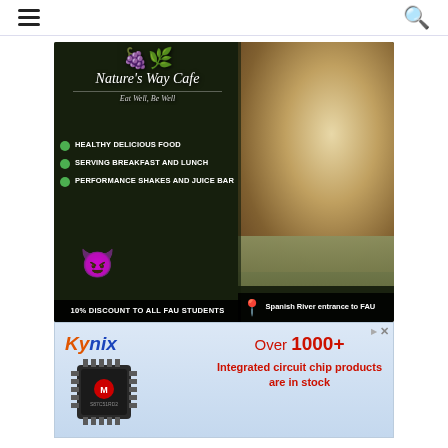Navigation bar with hamburger menu and search icon
[Figure (photo): Nature's Way Cafe advertisement with food photo on right, dark background on left, grape logo, italic text 'Eat Well, Be Well', bullet points listing Healthy Delicious Food, Serving Breakfast and Lunch, Performance Shakes and Juice Bar, 10% discount to all FAU Students, and location Spanish River entrance to FAU]
[Figure (infographic): Kynix advertisement showing a Microchip brand integrated circuit chip (S87C51 series) on a light blue background, with text 'Over 1000+ Integrated circuit chip products are in stock']